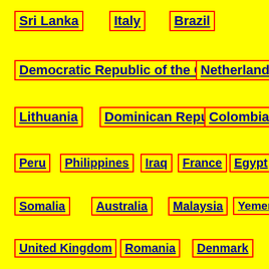Sri Lanka
Italy
Brazil
Democratic Republic of the Congo
Netherlands
Lithuania
Dominican Republic
Colombia
Peru
Philippines
Iraq
France
Egypt
Somalia
Australia
Malaysia
Yemen
United Kingdom
Romania
Denmark
Indonesia
Pakistan
Bhutan
Greece
Nicaragua
Russia
Austria
Thailand
Czech Republic
Sweden
Poland
Madagascar
Guatemala
Cuba
Panama